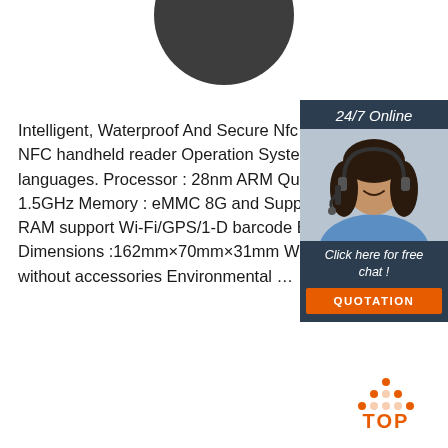[Figure (illustration): Dark gray circle/sphere partially visible at top center of page]
Intelligent, Waterproof And Secure Nfc Reader Keyb... NFC handheld reader Operation System : Android 5 languages. Processor : 28nm ARM Qual-core cortex 1.5GHz Memory : eMMC 8G and Support Max64GE RAM support Wi-Fi/GPS/1-D barcode Bluetooth/GP Dimensions :162mm×70mm×31mm We without accessories Environmental …
[Figure (infographic): 24/7 Online chat widget with woman wearing headset and dark background, with 'Click here for free chat!' text and orange QUOTATION button]
Get Price
[Figure (logo): TOP logo with orange dot triangle above the word TOP in orange letters]